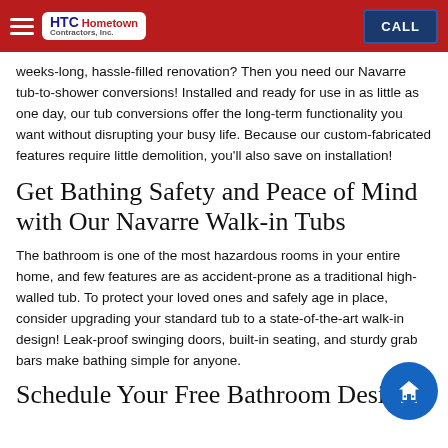HTC Hometown Contractors, Inc. — navigation bar with CALL button
weeks-long, hassle-filled renovation? Then you need our Navarre tub-to-shower conversions! Installed and ready for use in as little as one day, our tub conversions offer the long-term functionality you want without disrupting your busy life. Because our custom-fabricated features require little demolition, you'll also save on installation!
Get Bathing Safety and Peace of Mind with Our Navarre Walk-in Tubs
The bathroom is one of the most hazardous rooms in your entire home, and few features are as accident-prone as a traditional high-walled tub. To protect your loved ones and safely age in place, consider upgrading your standard tub to a state-of-the-art walk-in design! Leak-proof swinging doors, built-in seating, and sturdy grab bars make bathing simple for anyone.
Schedule Your Free Bathroom Design